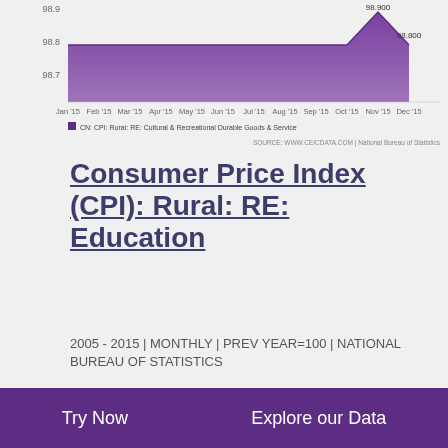[Figure (area-chart): CN: CPI: Rural: RE: Cultural & Recreational Durable Goods & Service]
CN: CPI: Rural: RE: Cultural & Recreational Durable Goods & Service
SOURCE: WWW.CEICDATA.COM | National Bureau of Statistics
Consumer Price Index (CPI): Rural: RE: Education
2005 - 2015 | MONTHLY | PREV YEAR=100 | NATIONAL BUREAU OF STATISTICS
CPI: Rural: RE: Education data was reported at 102.100 Prev Year=100 in Dec 2015. This stayed constant from the previous number of 102.100 Prev Year=100 for Nov 2015. CPI: Rural: RE: Education data is updated monthly, averaging 101.900 Prev Year=100 from Jan 2005 to Dec 2015, with 132 observations. The data reached an all-time high of 107.300 Prev Year=100 in Aug 2005 and a record low of 95.400 Prev Year=100 in Oct 2006. CPI: Rural: RE: Education data remains active status in
Try Now   Explore our Data